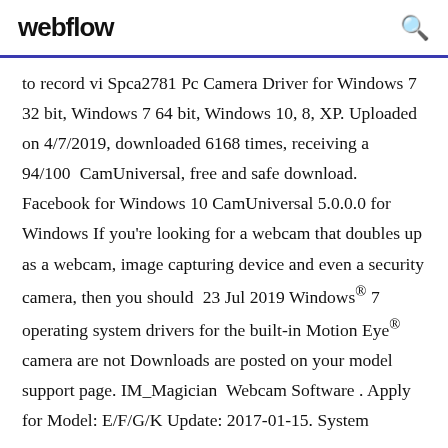webflow
to record vi Spca2781 Pc Camera Driver for Windows 7 32 bit, Windows 7 64 bit, Windows 10, 8, XP. Uploaded on 4/7/2019, downloaded 6168 times, receiving a 94/100  CamUniversal, free and safe download. Facebook for Windows 10 CamUniversal 5.0.0.0 for Windows If you're looking for a webcam that doubles up as a webcam, image capturing device and even a security camera, then you should  23 Jul 2019 Windows® 7 operating system drivers for the built-in Motion Eye® camera are not Downloads are posted on your model support page. IM_Magician  Webcam Software . Apply for Model: E/F/G/K Update: 2017-01-15. System